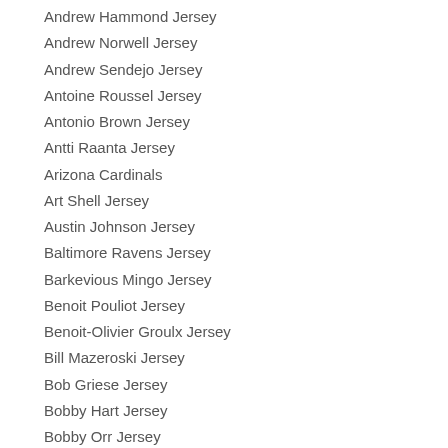Andrew Hammond Jersey
Andrew Norwell Jersey
Andrew Sendejo Jersey
Antoine Roussel Jersey
Antonio Brown Jersey
Antti Raanta Jersey
Arizona Cardinals
Art Shell Jersey
Austin Johnson Jersey
Baltimore Ravens Jersey
Barkevious Mingo Jersey
Benoit Pouliot Jersey
Benoit-Olivier Groulx Jersey
Bill Mazeroski Jersey
Bob Griese Jersey
Bobby Hart Jersey
Bobby Orr Jersey
Boomer Esiason Jersey